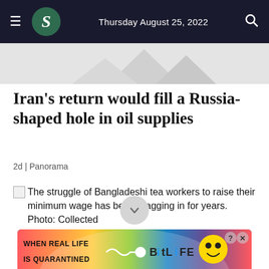Thursday August 25, 2022
[Figure (photo): Partial article hero image showing triangular shapes in light gray, cropped at top of content area]
Iran's return would fill a Russia-shaped hole in oil supplies
2d | Panorama
The struggle of Bangladeshi tea workers to raise their minimum wage has been dragging in for years. Photo: Collected
[Figure (photo): Advertisement banner: WHEN REAL LIFE IS QUARANTINED - BitLife game advertisement with colorful rainbow background and emoji character]